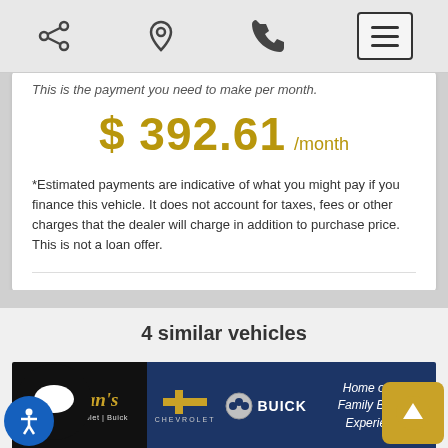Navigation bar with share, location, phone, and menu icons
This is the payment you need to make per month.
$ 392.61 /month
*Estimated payments are indicative of what you might pay if you finance this vehicle. It does not account for taxes, fees or other charges that the dealer will charge in addition to purchase price. This is not a loan offer.
4 similar vehicles
[Figure (photo): Sullivan's O'Neills Chevrolet Buick dealership banner with Chevrolet and Buick logos and tagline 'Home of the Family Buying Experience']